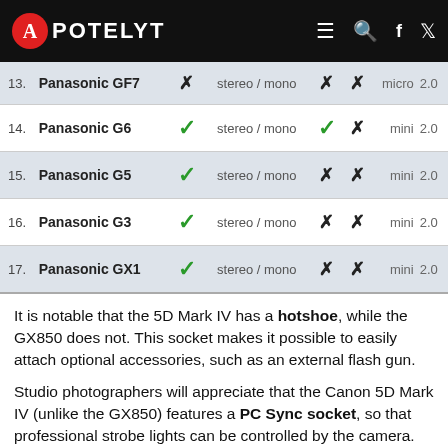APOTELYT
| # | Camera | Check | Audio | Check2 | Cross | Port | Ver |
| --- | --- | --- | --- | --- | --- | --- | --- |
| 13. | Panasonic GF7 | ✗ | stereo / mono | ✗ | ✗ | micro | 2.0 |
| 14. | Panasonic G6 | ✓ | stereo / mono | ✓ | ✗ | mini | 2.0 |
| 15. | Panasonic G5 | ✓ | stereo / mono | ✗ | ✗ | mini | 2.0 |
| 16. | Panasonic G3 | ✓ | stereo / mono | ✗ | ✗ | mini | 2.0 |
| 17. | Panasonic GX1 | ✓ | stereo / mono | ✗ | ✗ | mini | 2.0 |
It is notable that the 5D Mark IV has a hotshoe, while the GX850 does not. This socket makes it possible to easily attach optional accessories, such as an external flash gun.
Studio photographers will appreciate that the Canon 5D Mark IV (unlike the GX850) features a PC Sync socket, so that professional strobe lights can be controlled by the camera.
Travel and landscape photographers will find it useful that the 5D Mark IV has an internal geolocalization sensor and can record GPS coordinates in its EXIF data.